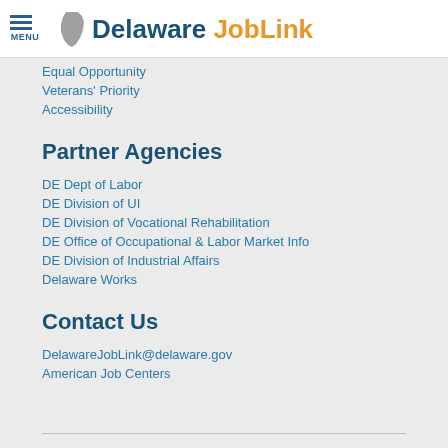MENU | Delaware JobLink
Equal Opportunity
Veterans' Priority
Accessibility
Partner Agencies
DE Dept of Labor
DE Division of UI
DE Division of Vocational Rehabilitation
DE Office of Occupational & Labor Market Info
DE Division of Industrial Affairs
Delaware Works
Contact Us
DelawareJobLink@delaware.gov
American Job Centers